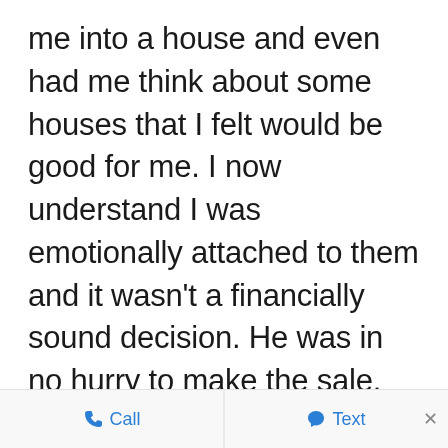me into a house and even had me think about some houses that I felt would be good for me. I now understand I was emotionally attached to them and it wasn't a financially sound decision. He was in no hurry to make the sale. He wanted to make sure I made a good decision. Camilo was an excellent negotiator. He took care of all the paperwork in a timely
Call   Text